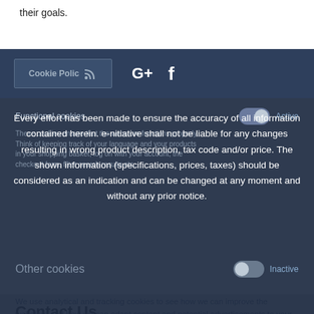their goals.
Cookie Policy
Functional cookies Active
These cookies ensure that the webstore functions properly. Think of keeping track of your language and your products in your shopping basket, log on with your account, the checkout form, filter search results etc.
Every effort has been made to ensure the accuracy of all information contained herein. e-nitiative shall not be liable for any changes resulting in wrong product description, tax code and/or price. The shown information (specifications, prices, taxes) should be considered as an indication and can be changed at any moment and without any prior notice.
Other cookies Inactive
We use analytical and tracking cookies to see how we can improve the webstore and how we can adapt content and potential advertisements to your preference.
Contact Us
Connect Online
Concorde Technology Group, Concorde House, Wakefield Road
Save Settings
WF5 9JS Ossett